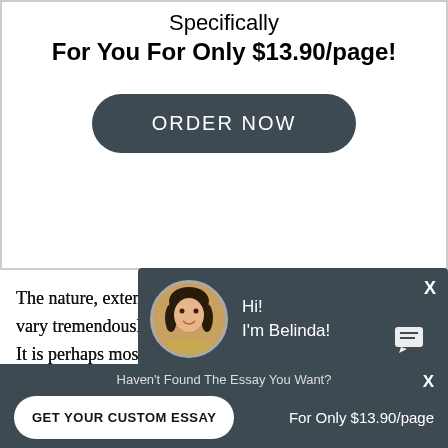Specifically
For You For Only $13.90/page!
[Figure (other): Dark rounded-rectangle button labeled ORDER NOW]
The nature, extent and severity of environmental problems vary tremendously from one part of the world to another. It is perhaps most logical to begin an assessment of the state of the global environment by looking at its present condition, as well as the trends. This type of assessment of past trends...
[Figure (other): Chat popup with avatar photo of Belinda, dark header, white body with text: 'Would you like to get a custom essay? How about receiving a customized one?' and bold underlined link 'Check it out']
This level of analysis is justified by the fact that most notably global warming and ozone layer depletio...
Haven't Found The Essay You Want?
GET YOUR CUSTOM ESSAY    For Only $13.90/page